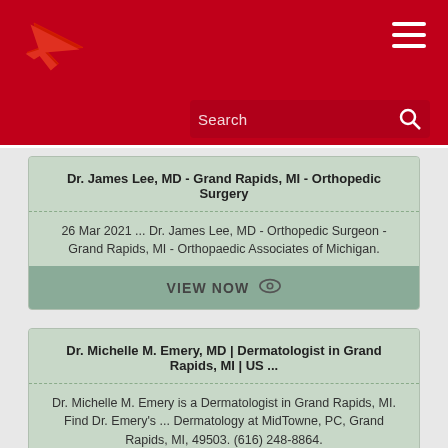[Figure (logo): Red airplane logo icon on dark red header background]
Search
Dr. James Lee, MD - Grand Rapids, MI - Orthopedic Surgery
26 Mar 2021 ... Dr. James Lee, MD - Orthopedic Surgeon - Grand Rapids, MI - Orthopaedic Associates of Michigan.
VIEW NOW
Dr. Michelle M. Emery, MD | Dermatologist in Grand Rapids, MI | US ...
Dr. Michelle M. Emery is a Dermatologist in Grand Rapids, MI. Find Dr. Emery's ... Dermatology at MidTowne, PC, Grand Rapids, MI, 49503. (616) 248-8864.
VIEW NOW